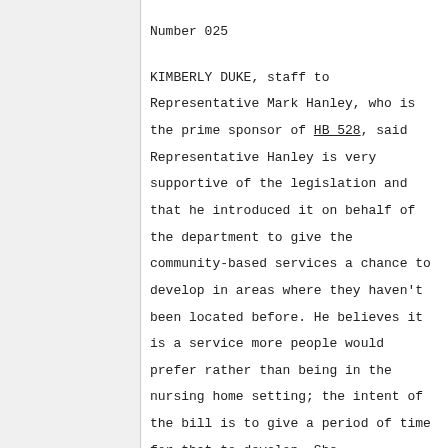Number 025
KIMBERLY DUKE, staff to Representative Mark Hanley, who is the prime sponsor of HB 528, said Representative Hanley is very supportive of the legislation and that he introduced it on behalf of the department to give the community-based services a chance to develop in areas where they haven't been located before. He believes it is a service more people would prefer rather than being in the nursing home setting; the intent of the bill is to give a period of time for that to develop. She